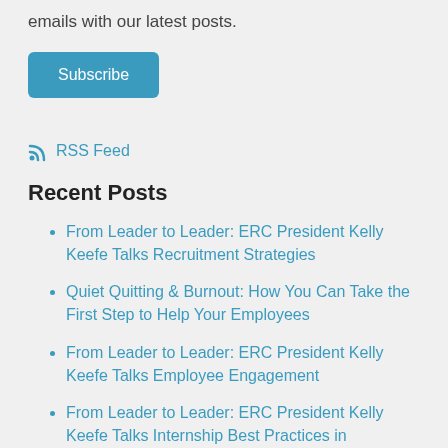emails with our latest posts.
[Figure (other): Subscribe button, blue rounded rectangle with white text 'Subscribe']
RSS Feed
Recent Posts
From Leader to Leader: ERC President Kelly Keefe Talks Recruitment Strategies
Quiet Quitting & Burnout: How You Can Take the First Step to Help Your Employees
From Leader to Leader: ERC President Kelly Keefe Talks Employee Engagement
From Leader to Leader: ERC President Kelly Keefe Talks Internship Best Practices in